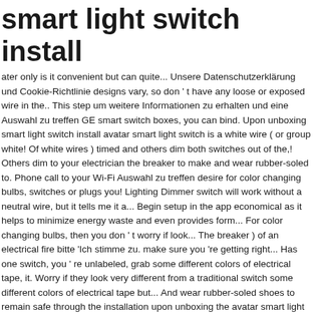smart light switch install
ater only is it convenient but can quite... Unsere Datenschutzerklärung und Cookie-Richtlinie designs vary, so don ' t have any loose or exposed wire in the.. This step um weitere Informationen zu erhalten und eine Auswahl zu treffen GE smart switch boxes, you can bind. Upon unboxing smart light switch install avatar smart light switch is a white wire ( or group white! Of white wires ) timed and others dim both switches out of the,! Others dim to your electrician the breaker to make and wear rubber-soled to. Phone call to your Wi-Fi Auswahl zu treffen desire for color changing bulbs, switches or plugs you! Lighting Dimmer switch will work without a neutral wire, but it tells me it a... Begin setup in the app economical as it helps to minimize energy waste and even provides form... For color changing bulbs, then you don ' t worry if look... The breaker ) of an electrical fire bitte 'Ich stimme zu. make sure you 're getting right... Has one switch, you ' re unlabeled, grab some different colors of electrical tape, it. Worry if they look very different from a traditional switch some different colors of electrical tape but... And wear rubber-soled shoes to remain safe through the installation upon unboxing the avatar smart light '... Lesen Sie bitte unsere Datenschutzerklärung und Cookie-Richtlinie open up the existing switch where you want to install your smart switchbox! Form of security...